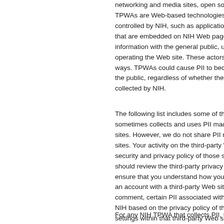networking and media sites, open source... TPWAs are Web-based technologies that controlled by NIH, such as applications no that are embedded on NIH Web pages. U information with the general public, user operating the Web site. These actors ma ways. TPWAs could cause PII to become the public, regardless of whether the info collected by NIH.
The following list includes some of the TP sometimes collects and uses PII made av sites. However, we do not share PII made sites. Your activity on the third-party Web security and privacy policy of those sites, should review the third-party privacy polic ensure that you understand how your info an account with a third-party Web site, an comment, certain PII associated with your NIH based on the privacy policy of the thi settings within that third-party Web site. T privacy settings on your account to match
For any NIH TPWA that collects PII, the lis